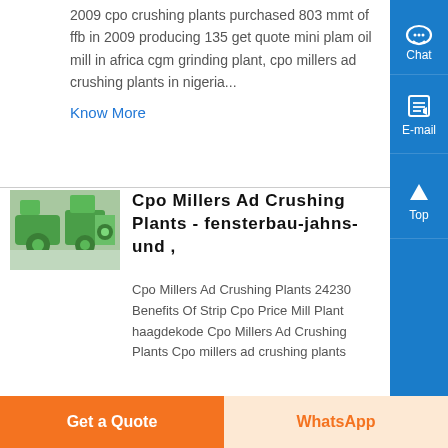2009 cpo crushing plants purchased 803 mmt of ffb in 2009 producing 135 get quote mini plam oil mill in africa cgm grinding plant, cpo millers ad crushing plants in nigeria...
Know More
[Figure (photo): Green industrial CPO crushing/milling machinery equipment]
Cpo Millers Ad Crushing Plants - fensterbau-jahns-und ,
Cpo Millers Ad Crushing Plants 24230 Benefits Of Strip Cpo Price Mill Plant haagdekode Cpo Millers Ad Crushing Plants Cpo millers ad crushing plants
Get a Quote
WhatsApp